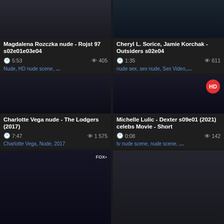[Figure (screenshot): Video thumbnail grid showing 6 video cards with thumbnails, titles, duration, view counts, and tags]
Magdalena Rozczka nude - Rojst 97 s02e01e03e04
5:53  405  Nude, HD nude scene, ...
Cheryl L. Sorice, Jamie Korchak - Outsiders s02e04
1:35  611  nude sex, sex nude, Sex Video,...
Charlotte Vega nude - The Lodgers (2017)
7:47  1 575  Charlotte Vega, Nude, 2017
Michelle Lulic - Dexter s09e01 (2021) celebs Movie - Short
0:08  142  tv nude scene, nude scene, ...